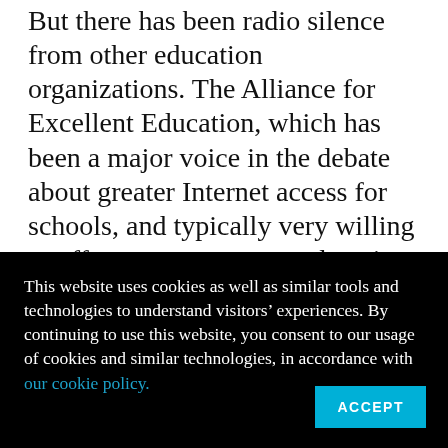But there has been radio silence from other education organizations. The Alliance for Excellent Education, which has been a major voice in the debate about greater Internet access for schools, and typically very willing to offer commentary on education technology, said “no comment” in an email when I asked a spokesman for their take on the Net Neutrality ruling. The Consortium for School Networking, a membership organization for education
This website uses cookies as well as similar tools and technologies to understand visitors’ experiences. By continuing to use this website, you consent to our usage of cookies and similar technologies, in accordance with our cookie policy.